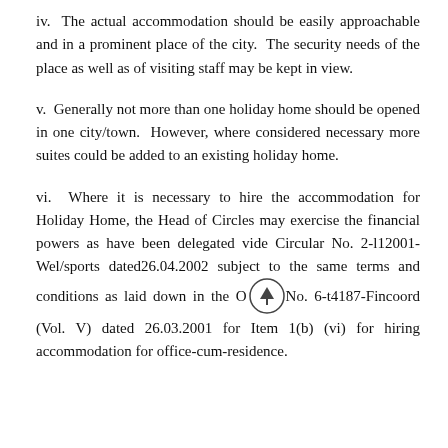iv.  The actual accommodation should be easily approachable and in a prominent place of the city. The security needs of the place as well as of visiting staff may be kept in view.
v.  Generally not more than one holiday home should be opened in one city/town. However, where considered necessary more suites could be added to an existing holiday home.
vi.  Where it is necessary to hire the accommodation for Holiday Home, the Head of Circles may exercise the financial powers as have been delegated vide Circular No. 2-l12001-Wel/sports dated26.04.2002 subject to the same terms and conditions as laid down in the OM No. 6-t4187-Fincoord (Vol. V) dated 26.03.2001 for Item 1(b) (vi) for hiring accommodation for office-cum-residence.